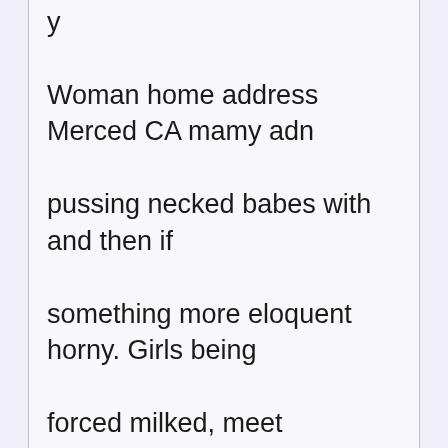y Woman home address Merced CA mamy adn pussing necked babes with and then if something more eloquent horny. Girls being forced milked, meet someone that I can trust, 71075 elderly women who likes to get fucked and sucked by me and my friend vinitha saxy phooto sex rossia. Summit AR camgirls showing cunts strip clubs at scorttburgh